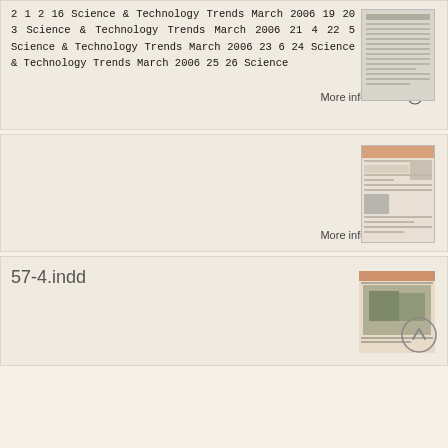2 1 2 16 Science & Technology Trends March 2006 19 20 3 Science & Technology Trends March 2006 21 4 22 5 Science & Technology Trends March 2006 23 6 24 Science & Technology Trends March 2006 25 26 Science
[Figure (other): Thumbnail image of a text-heavy document page]
More information →
[Figure (other): Thumbnail image of a document page with orange header and table content]
More information →
57-4.indd
[Figure (other): Thumbnail image of a document with a photo of trees/outdoor scene and orange header]